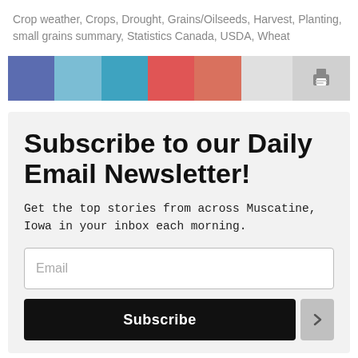Crop weather, Crops, Drought, Grains/Oilseeds, Harvest, Planting, small grains summary, Statistics Canada, USDA, Wheat
[Figure (other): Social sharing bar with colored buttons: Facebook (blue-purple), Twitter (light blue), LinkedIn (teal), Pinterest (red), Email (salmon), spacer (light gray), Print icon button (gray)]
Subscribe to our Daily Email Newsletter!
Get the top stories from across Muscatine, Iowa in your inbox each morning.
Email
Subscribe